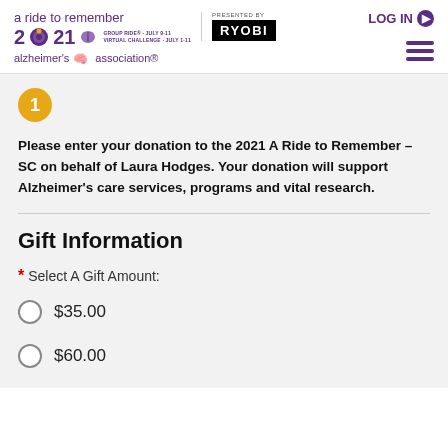[Figure (logo): A Ride to Remember 2021 event logo with Alzheimer's Association branding and RYOBI presented by sponsor logo]
LOG IN
1
Please enter your donation to the 2021 A Ride to Remember - SC on behalf of Laura Hodges. Your donation will support Alzheimer's care services, programs and vital research.
Gift Information
* Select A Gift Amount:
$35.00
$60.00